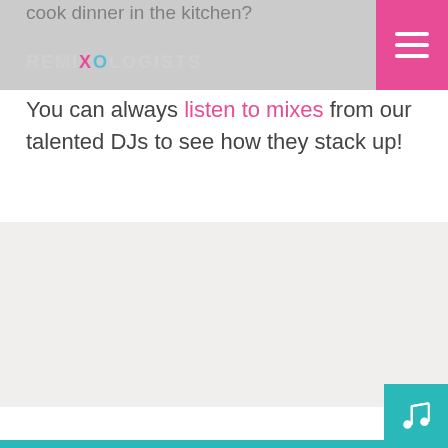REMIXOLOGISTS
cook dinner in the kitchen?
You can always listen to mixes from our talented DJs to see how they stack up!